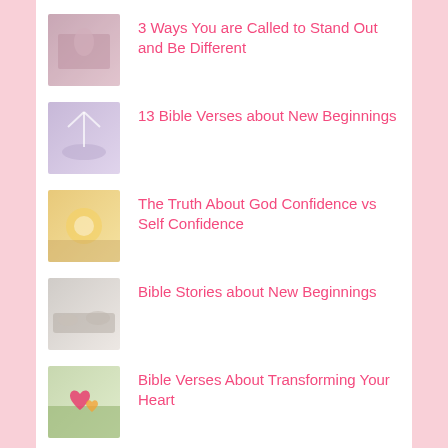3 Ways You are Called to Stand Out and Be Different
13 Bible Verses about New Beginnings
The Truth About God Confidence vs Self Confidence
Bible Stories about New Beginnings
Bible Verses About Transforming Your Heart